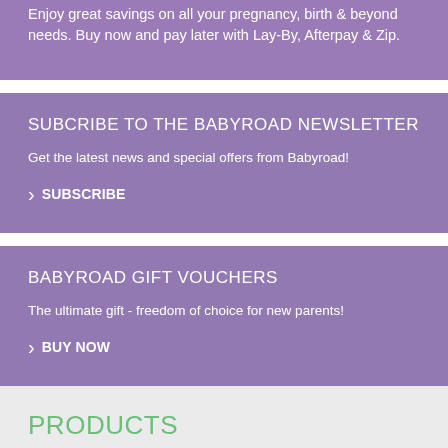Enjoy great savings on all your pregnancy, birth & beyond needs. Buy now and pay later with Lay-By, Afterpay & Zip.
SUBCRIBE TO THE BABYROAD NEWSLETTER
Get the latest news and special offers from Babyroad!
> SUBSCRIBE
BABYROAD GIFT VOUCHERS
The ultimate gift - freedom of choice for new parents!
> BUY NOW
PRODUCTS
> Baby Brands